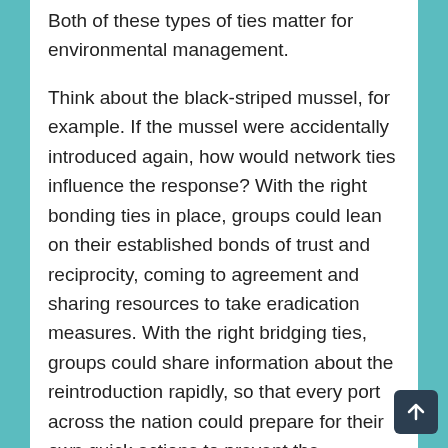Both of these types of ties matter for environmental management.
Think about the black-striped mussel, for example. If the mussel were accidentally introduced again, how would network ties influence the response? With the right bonding ties in place, groups could lean on their established bonds of trust and reciprocity, coming to agreement and sharing resources to take eradication measures. With the right bridging ties, groups could share information about the reintroduction rapidly, so that every port across the nation could prepare for their own quick actions to prevent the